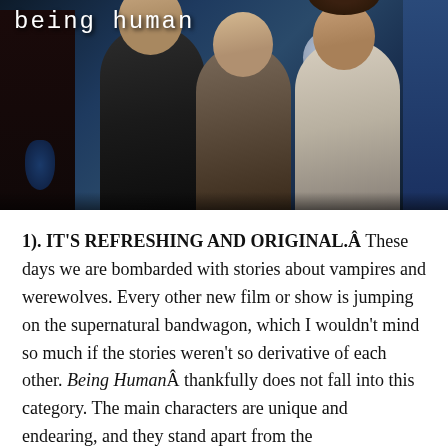[Figure (photo): Promotional photo for TV show 'Being Human' showing three cast members standing in a dimly lit room with a full moon visible behind them. The show title 'being human' appears in monospace font at the top left.]
1). IT'S REFRESHING AND ORIGINAL.Â These days we are bombarded with stories about vampires and werewolves. Every other new film or show is jumping on the supernatural bandwagon, which I wouldn't mind so much if the stories weren't so derivative of each other. Being HumanÂ thankfully does not fall into this category. The main characters are unique and endearing, and they stand apart from the